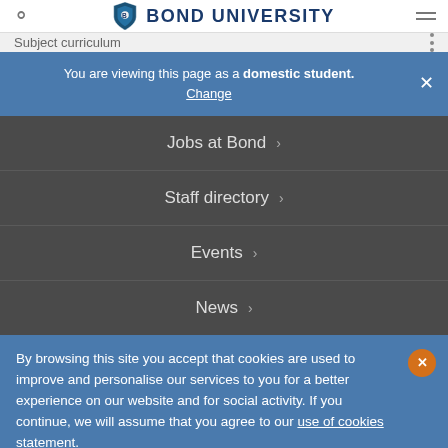Bond University
Subject curriculum
You are viewing this page as a domestic student. Change
Jobs at Bond
Staff directory
Events
News
By browsing this site you accept that cookies are used to improve and personalise our services to you for a better experience on our website and for social activity. If you continue, we will assume that you agree to our use of cookies statement.